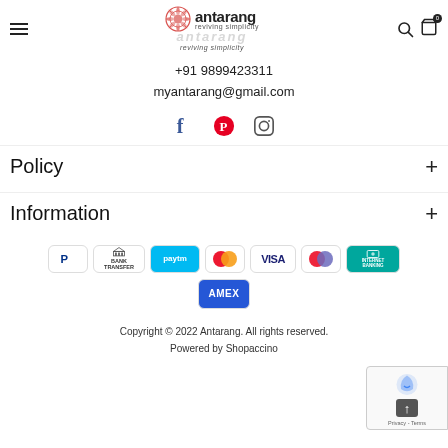[Figure (logo): Antarang logo with mandala icon and tagline 'reviving simplicity']
+91 9899423311
myantarang@gmail.com
[Figure (infographic): Social media icons: Facebook, Pinterest, Instagram]
Policy +
Information +
[Figure (infographic): Payment method icons: PayPal, Bank Transfer, Paytm, Mastercard, Visa, Maestro, Internet Banking, AMEX]
Copyright © 2022 Antarang. All rights reserved.
Powered by Shopaccino